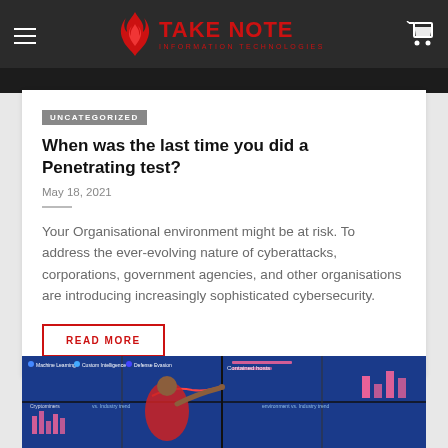Take Note Information Technologies
UNCATEGORIZED
When was the last time you did a Penetrating test?
May 18, 2021
Your Organisational environment might be at risk. To address the ever-evolving nature of cyberattacks, corporations, government agencies, and other organisations are introducing increasingly sophisticated cybersecurity.
READ MORE
[Figure (photo): A person in a red shirt pointing at multiple blue monitor screens showing cybersecurity dashboards with machine learning, malware, and industry trend data.]